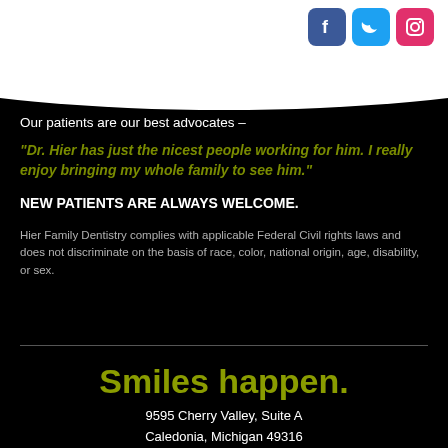[Figure (illustration): Social media icons: Facebook (blue), Twitter (light blue), Instagram (pink/red) in rounded square buttons in top right corner]
Our patients are our best advocates –
“Dr. Hier has just the nicest people working for him. I really enjoy bringing my whole family to see him.”
NEW PATIENTS ARE ALWAYS WELCOME.
Hier Family Dentistry complies with applicable Federal Civil rights laws and does not discriminate on the basis of race, color, national origin, age, disability, or sex.
Smiles happen.
9595 Cherry Valley, Suite A
Caledonia, Michigan 49316
(616) 891-1240